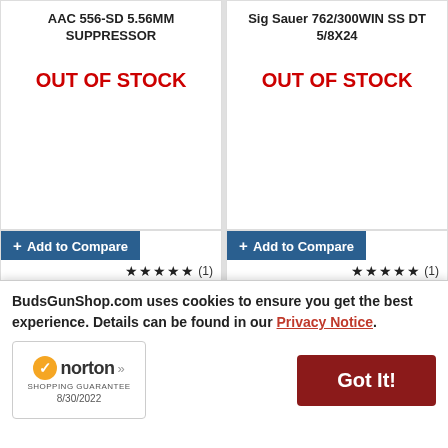AAC 556-SD 5.56MM SUPPRESSOR
OUT OF STOCK
Sig Sauer 762/300WIN SS DT 5/8X24
OUT OF STOCK
+ Add to Compare ★★★★★ (1) GEMTECH GM-9 9MM W/PISTON 1/2X28
+ Add to Compare ★★★★★ (1) GEMTECH GM-45 45ACP W/PIS .578-28
BudsGunShop.com uses cookies to ensure you get the best experience. Details can be found in our Privacy Notice.
Got It!